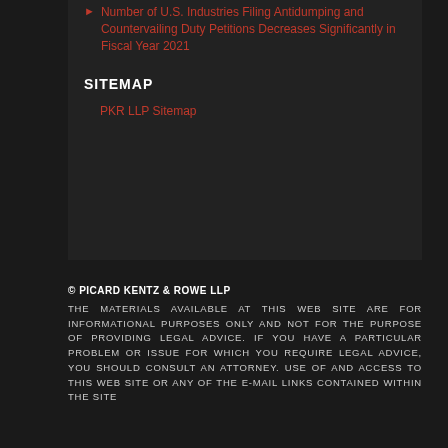Number of U.S. Industries Filing Antidumping and Countervailing Duty Petitions Decreases Significantly in Fiscal Year 2021
SITEMAP
PKR LLP Sitemap
© PICARD KENTZ & ROWE LLP THE MATERIALS AVAILABLE AT THIS WEB SITE ARE FOR INFORMATIONAL PURPOSES ONLY AND NOT FOR THE PURPOSE OF PROVIDING LEGAL ADVICE. IF YOU HAVE A PARTICULAR PROBLEM OR ISSUE FOR WHICH YOU REQUIRE LEGAL ADVICE, YOU SHOULD CONSULT AN ATTORNEY. USE OF AND ACCESS TO THIS WEB SITE OR ANY OF THE E-MAIL LINKS CONTAINED WITHIN THE SITE